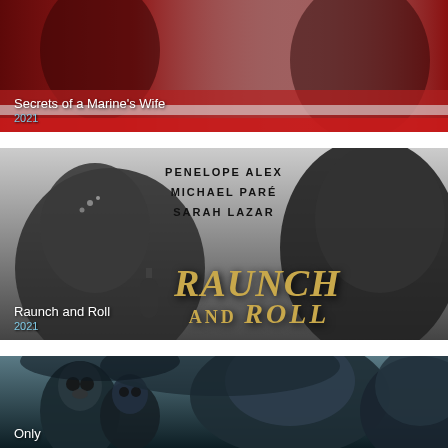[Figure (photo): Movie poster for 'Secrets of a Marine's Wife' (2021) with dark red/maroon background showing blurred figures]
Secrets of a Marine's Wife
2021
[Figure (photo): Black and white movie poster for 'Raunch and Roll' (2021) featuring Penelope Alex, Michael Paré, Sarah Lazar with two faces in profile and gold title text]
Raunch and Roll
2021
[Figure (photo): Movie poster for 'Only' showing post-apocalyptic figures in gas masks on left and two faces (woman and man) on right against dark teal/stormy background]
Only